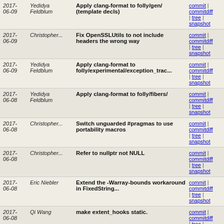| Date | Author | Message | Links |
| --- | --- | --- | --- |
| 2017-06-09 | Yedidya Feldblum | Apply clang-format to folly/gen/ (template decls) | commit | commitdiff | tree | snapshot |
| 2017-06-09 | Christopher... | Fix OpenSSLUtils to not include headers the wrong way | commit | commitdiff | tree | snapshot |
| 2017-06-09 | Yedidya Feldblum | Apply clang-format to folly/experimental/exception_trac... | commit | commitdiff | tree | snapshot |
| 2017-06-08 | Yedidya Feldblum | Apply clang-format to folly/fibers/ | commit | commitdiff | tree | snapshot |
| 2017-06-08 | Christopher... | Switch unguarded #pragmas to use portability macros | commit | commitdiff | tree | snapshot |
| 2017-06-08 | Christopher... | Refer to nullptr not NULL | commit | commitdiff | tree | snapshot |
| 2017-06-08 | Eric Niebler | Extend the -Warray-bounds workaround in FixedString... | commit | commitdiff | tree | snapshot |
| 2017-06-08 | Qi Wang | make extent_hooks static. | commit | commitdiff | tree | snapshot |
| 2017-06-07 | Christopher... | Implement __builtin_popcount under MSVC | commit | commitdiff | tree | snapshot |
| 2017-06-07 | Christopher... | Exclude experimental/hazptr/bench from the globs used... | commit | commitdiff | tree | snapshot |